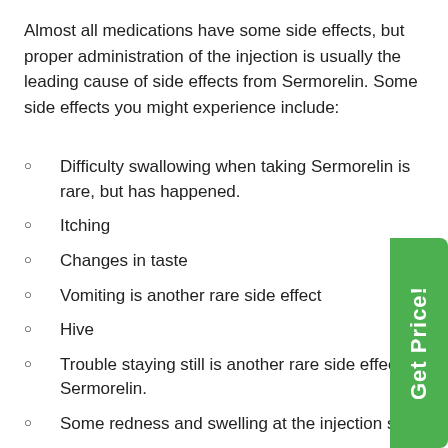Almost all medications have some side effects, but proper administration of the injection is usually the leading cause of side effects from Sermorelin. Some side effects you might experience include:
Difficulty swallowing when taking Sermorelin is rare, but has happened.
Itching
Changes in taste
Vomiting is another rare side effect
Hive
Trouble staying still is another rare side effect of Sermorelin.
Some redness and swelling at the injection site